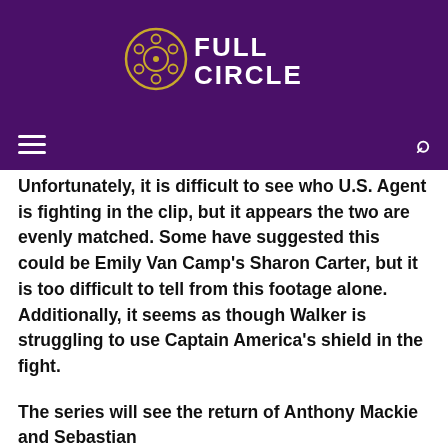[Figure (logo): Full Circle logo on purple background — film reel icon next to bold white text reading FULL CIRCLE]
≡   [Full Circle]   🔍
Unfortunately, it is difficult to see who U.S. Agent is fighting in the clip, but it appears the two are evenly matched. Some have suggested this could be Emily Van Camp's Sharon Carter, but it is too difficult to tell from this footage alone. Additionally, it seems as though Walker is struggling to use Captain America's shield in the fight.
The series will see the return of Anthony Mackie and Sebastian